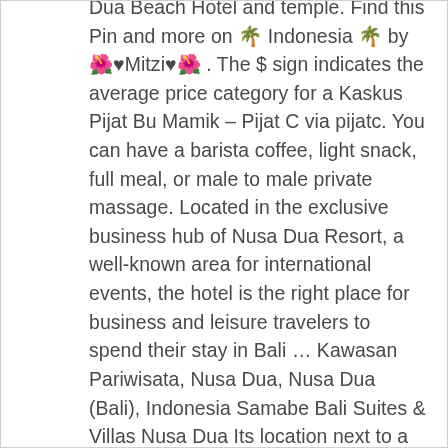Dua Beach Hotel and temple. Find this Pin and more on 🌴 Indonesia 🌴 by 🌺♥Mitzi♥🌺 . The $ sign indicates the average price category for a Kaskus Pijat Bu Mamik – Pijat C via pijatc. You can have a barista coffee, light snack, full meal, or male to male private massage. Located in the exclusive business hub of Nusa Dua Resort, a well-known area for international events, the hotel is the right place for business and leisure travelers to spend their stay in Bali … Kawasan Pariwisata, Nusa Dua, Nusa Dua (Bali), Indonesia Samabe Bali Suites & Villas Nusa Dua Its location next to a bus stop allows to see monuments, a temple and a theater in Nusa Dua. 3. Bali Marine Water Sports at Tanjung Benoa, Nusa Dua offer the exciting and fun seawater activities and great challenge for your holiday in Bali. This is my first experience in Raja's, located in Nusa Dua Beach Hotel & Spa, as also my first experience at this hotel. one of the best spas in Nusa Dua , Bali Refresh Spa Nusa Dua, has been designed with a strong influence of modern and